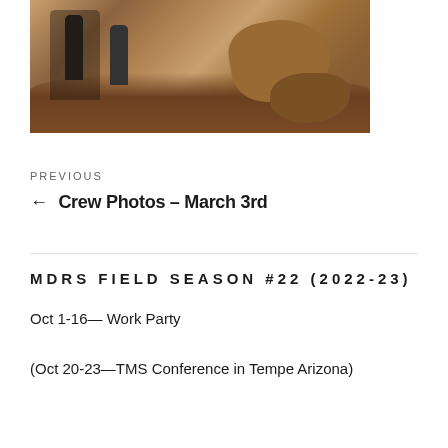[Figure (photo): Field photo showing two people walking on rocky desert terrain with red/brown rocky formations in the background. Outdoor archaeology or geology field work setting.]
PREVIOUS
← Crew Photos – March 3rd
MDRS FIELD SEASON #22 (2022-23)
Oct 1-16— Work Party
(Oct 20-23—TMS Conference in Tempe Arizona)